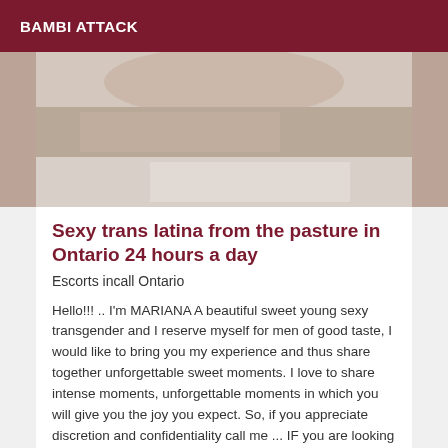BAMBI ATTACK
[Figure (photo): Partial photo of a person lying on a bed with fur/textured blanket, cropped to show upper body area]
Sexy trans latina from the pasture in Ontario 24 hours a day
Escorts incall Ontario
Hello!!! .. I'm MARIANA A beautiful sweet young sexy transgender and I reserve myself for men of good taste, I would like to bring you my experience and thus share together unforgettable sweet moments. I love to share intense moments, unforgettable moments in which you will give you the joy you expect. So, if you appreciate discretion and confidentiality call me ... IF you are looking for a beautiful and intelligent company, I invite you to a meeting that should be unforgettable .... Kisses